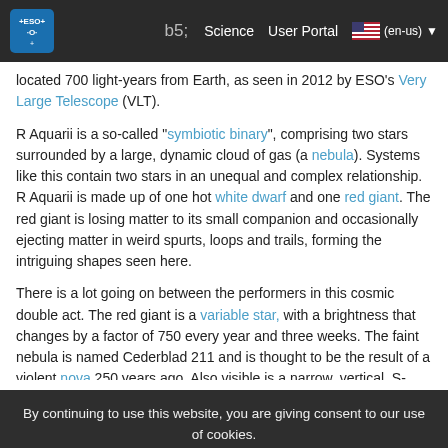ESO navigation bar with logo, search, Science, User Portal, language selector (en-us)
located 700 light-years from Earth, as seen in 2012 by ESO's Very Large Telescope (VLT).
R Aquarii is a so-called "symbiotic binary", comprising two stars surrounded by a large, dynamic cloud of gas (a nebula). Systems like this contain two stars in an unequal and complex relationship. R Aquarii is made up of one hot white dwarf and one red giant. The red giant is losing matter to its small companion and occasionally ejecting matter in weird spurts, loops and trails, forming the intriguing shapes seen here.
There is a lot going on between the performers in this cosmic double act. The red giant is a variable star, with a brightness that changes by a factor of 750 every year and three weeks. The faint nebula is named Cederblad 211 and is thought to be the result of a violent nova 250 years ago. Also visible is a narrow, vertical, S-
By continuing to use this website, you are giving consent to our use of cookies.
For more information on how ESO uses data and how you can disable cookies, please view our privacy policy.
Accept